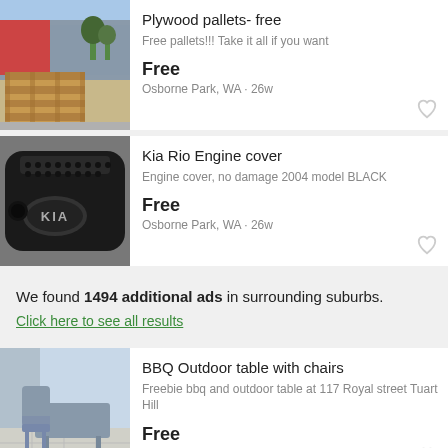[Figure (photo): Photo of stacked plywood pallets outdoors in a parking area]
Plywood pallets- free
Free pallets!!! Take it all if you want
Free
Osborne Park, WA · 26w
[Figure (photo): Photo of a black Kia Rio engine cover with KIA logo]
Kia Rio Engine cover
Engine cover, no damage 2004 model BLACK
Free
Osborne Park, WA · 26w
We found 1494 additional ads in surrounding suburbs.
Click here to see all results
[Figure (photo): Photo of outdoor BBQ table with chairs on a patio]
BBQ Outdoor table with chairs
Freebie bbq and outdoor table at 117 Royal street Tuart Hill
Free
Tuart Hill, WA · 3d